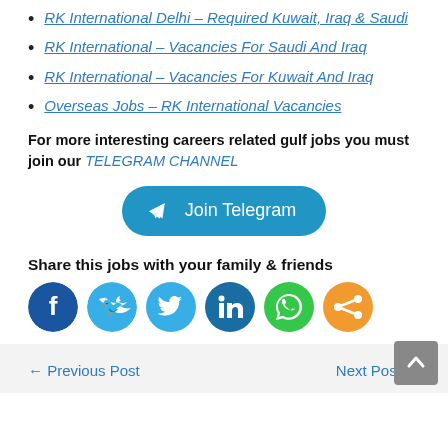RK International Delhi – Required Kuwait, Iraq & Saudi
RK International – Vacancies For Saudi And Iraq
RK International – Vacancies For Kuwait And Iraq
Overseas Jobs – RK International Vacancies
For more interesting careers related gulf jobs you must join our TELEGRAM CHANNEL
[Figure (other): Join Telegram button — rounded blue button with Telegram send icon and text 'Join Telegram']
Share this jobs with your family & friends
[Figure (other): Social media share icons: Facebook (blue), Twitter (light blue), LinkedIn (blue), WhatsApp (green), Share (orange)]
← Previous Post    Next Post →